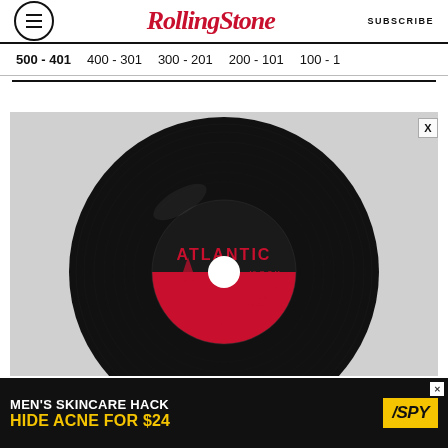Rolling Stone — SUBSCRIBE
500 - 401
400 - 301
300 - 201
200 - 101
100 - 1
[Figure (photo): A vintage black vinyl 45 RPM record with an Atlantic Records label (red and black label, catalog number 45-2163), photographed on a light grey background.]
MEN'S SKINCARE HACK HIDE ACNE FOR $24 — SPY